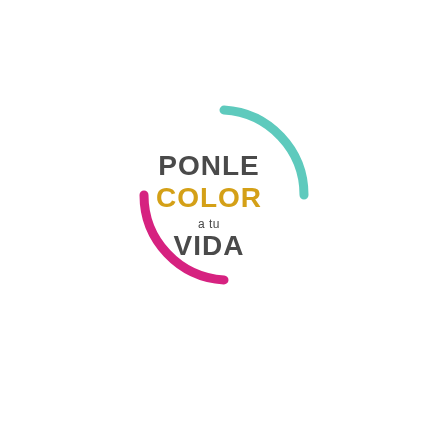[Figure (logo): Logo reading 'PONLE COLOR a tu VIDA' with two colored arc segments forming a circle — teal arc on top-right, magenta arc on bottom-left. Text: 'PONLE' in dark gray, 'COLOR' in golden/orange, 'a tu' in small dark gray, 'VIDA' in dark gray bold.]